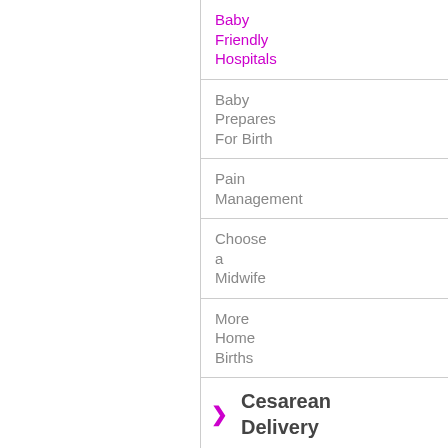Baby Friendly Hospitals
Baby Prepares For Birth
Pain Management
Choose a Midwife
More Home Births
Cesarean Delivery
Anatomy
Ask a Midwife
Multiple Births